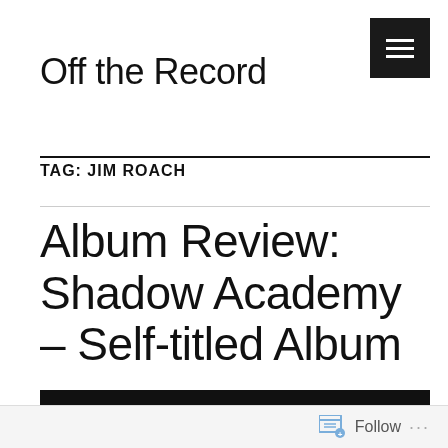Off the Record
TAG: JIM ROACH
Album Review: Shadow Academy – Self-titled Album
[Figure (photo): Black image bar at bottom of page, partially visible]
Follow ...